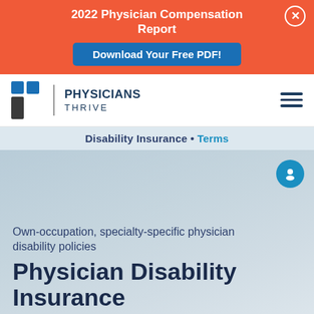2022 Physician Compensation Report
Download Your Free PDF!
[Figure (logo): Physicians Thrive logo with stylized P icon and company name]
Disability Insurance • Terms
Own-occupation, specialty-specific physician disability policies
Physician Disability Insurance